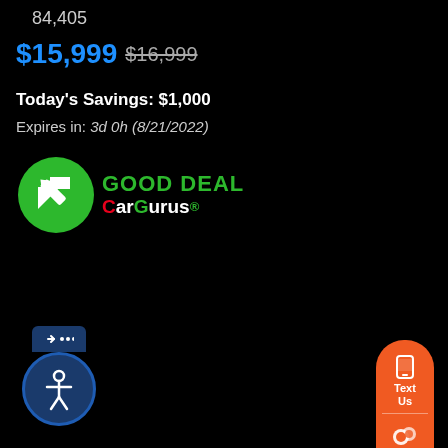84,405
$15,999  $16,999
Today's Savings: $1,000
Expires in: 3d 0h (8/21/2022)
[Figure (logo): CarGurus GOOD DEAL badge — green circle with white arrow, green GOOD DEAL text, CarGurus logo]
[Figure (infographic): Orange rounded pill sidebar with phone/text icon labeled Text Us, chat icon, and phone icon]
[Figure (infographic): Accessibility widget — dark blue tab with back arrow, dark blue circle with person/accessibility icon]